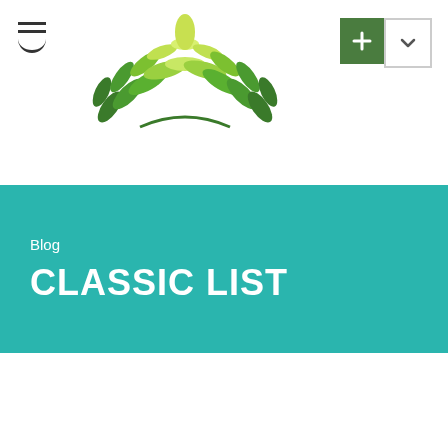[Figure (logo): Green leaf/plant logo made of multiple green and light green leaves arranged in a fan/sunburst pattern]
Blog
CLASSIC LIST